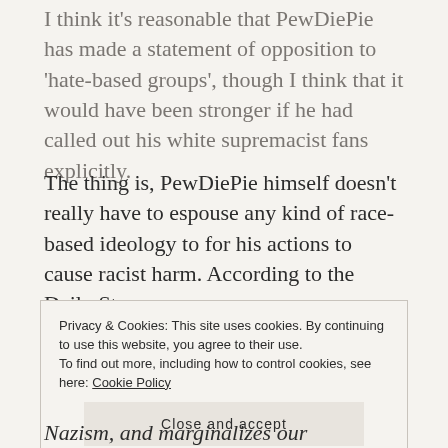I think it's reasonable that PewDiePie has made a statement of opposition to 'hate-based groups', though I think that it would have been stronger if he had called out his white supremacist fans explicitly.
The thing is, PewDiePie himself doesn't really have to espouse any kind of race-based ideology to for his actions to cause racist harm. According to the Daily Stormer:
Privacy & Cookies: This site uses cookies. By continuing to use this website, you agree to their use.
To find out more, including how to control cookies, see here: Cookie Policy
[Close and accept]
Nazism, and marginalizes our